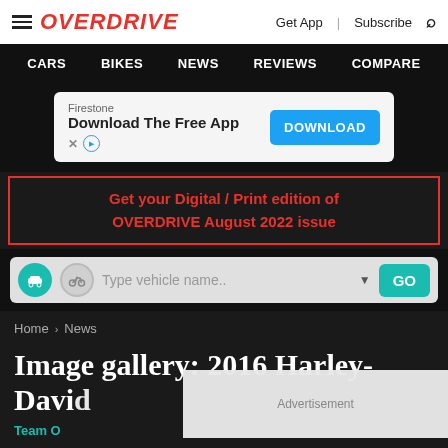OVERDRIVE | Get App | Subscribe
CARS | BIKES | NEWS | REVIEWS | COMPARE
[Figure (screenshot): Firestone advertisement banner: 'Download The Free App' with DOWNLOAD button]
Get your Digital / Print edition of OVERDRIVE August 2022 issue
[Figure (screenshot): Vehicle search bar with car and bike icons, text 'Type vehicle name..' and GO button]
Home > News
Image gallery: 2016 Harley-Davidson...
Team O...
Advertisement